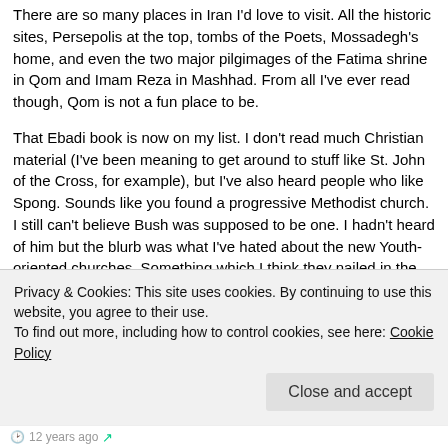There are so many places in Iran I'd love to visit. All the historic sites, Persepolis at the top, tombs of the Poets, Mossadegh's home, and even the two major pilgimages of the Fatima shrine in Qom and Imam Reza in Mashhad. From all I've ever read though, Qom is not a fun place to be.
That Ebadi book is now on my list. I don't read much Christian material (I've been meaning to get around to stuff like St. John of the Cross, for example), but I've also heard people who like Spong. Sounds like you found a progressive Methodist church. I still can't believe Bush was supposed to be one. I hadn't heard of him but the blurb was what I've hated about the new Youth-oriented churches. Something which I think they nailed in the movie "Saved!"
With Iran, I'm just finishing up Nikki R. Keddie's seminal "Roots of Revolution" which I will add to my stack and cross of one of
Privacy & Cookies: This site uses cookies. By continuing to use this website, you agree to their use.
To find out more, including how to control cookies, see here: Cookie Policy
12 years ago